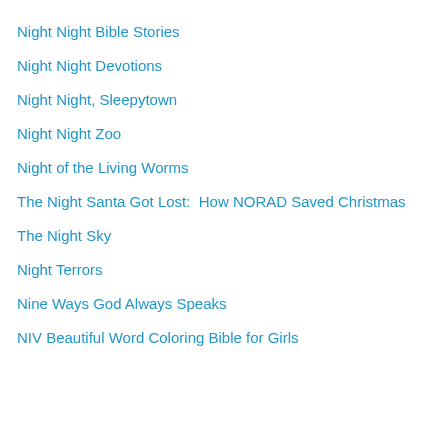Night Night Bible Stories
Night Night Devotions
Night Night, Sleepytown
Night Night Zoo
Night of the Living Worms
The Night Santa Got Lost:  How NORAD Saved Christmas
The Night Sky
Night Terrors
Nine Ways God Always Speaks
NIV Beautiful Word Coloring Bible for Girls